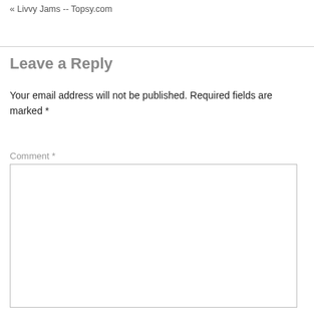« Livvy Jams -- Topsy.com
Leave a Reply
Your email address will not be published. Required fields are marked *
Comment *